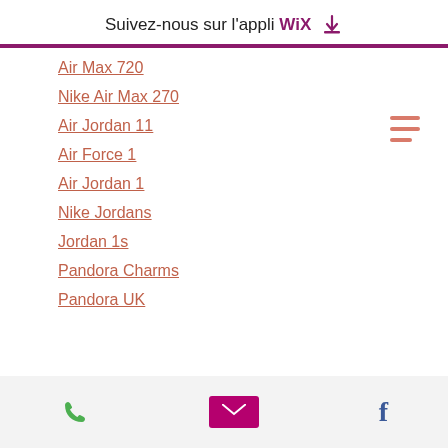Suivez-nous sur l'appli WiX ⬇
Air Max 720
Nike Air Max 270
Air Jordan 11
Air Force 1
Air Jordan 1
Nike Jordans
Jordan 1s
Pandora Charms
Pandora UK
Phone | Email | Facebook